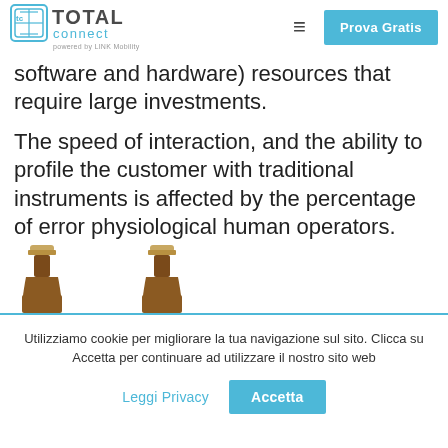Total connect powered by LINK Mobility | Prova Gratis
software and hardware) resources that require large investments.
The speed of interaction, and the ability to profile the customer with traditional instruments is affected by the percentage of error physiological human operators.
[Figure (photo): Two brown glass beer bottles visible from the neck up]
Utilizziamo cookie per migliorare la tua navigazione sul sito. Clicca su Accetta per continuare ad utilizzare il nostro sito web
Leggi Privacy | Accetta